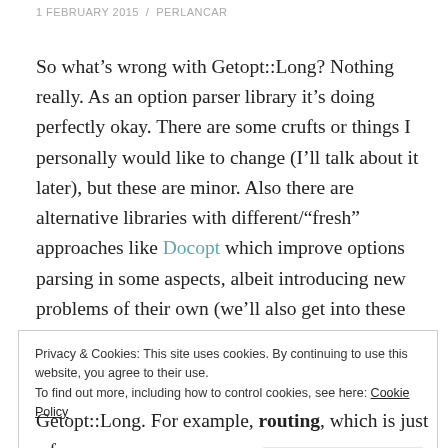1 FEBRUARY 2015  /  PERLANCAR
So what’s wrong with Getopt::Long? Nothing really. As an option parser library it’s doing perfectly okay. There are some crufts or things I personally would like to change (I’ll talk about it later), but these are minor. Also there are alternative libraries with different/“fresh” approaches like Docopt which improve options parsing in some aspects, albeit introducing new problems of their own (we’ll also get into these later), but really the old Getopt::Long way is still fine for most cases.
Privacy & Cookies: This site uses cookies. By continuing to use this website, you agree to their use.
To find out more, including how to control cookies, see here: Cookie Policy
Getopt::Long. For example, routing, which is just a fancy